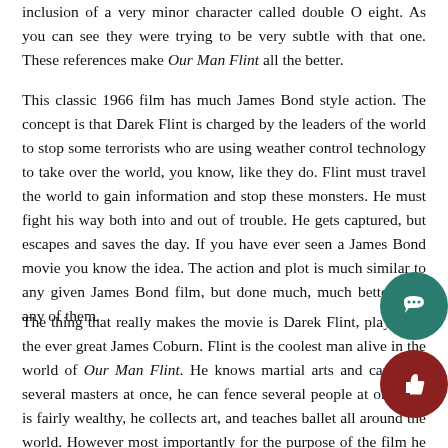inclusion of a very minor character called double O eight. As you can see they were trying to be very subtle with that one. These references make Our Man Flint all the better.
This classic 1966 film has much James Bond style action. The concept is that Darek Flint is charged by the leaders of the world to stop some terrorists who are using weather control technology to take over the world, you know, like they do. Flint must travel the world to gain information and stop these monsters. He must fight his way both into and out of trouble. He gets captured, but escapes and saves the day. If you have ever seen a James Bond movie you know the idea. The action and plot is much similar to any given James Bond film, but done much, much better than any of them.
The thing that really makes the movie is Darek Flint, played by the ever great James Coburn. Flint is the coolest man alive in the world of Our Man Flint. He knows martial arts and can fight several masters at once, he can fence several people at once, he is fairly wealthy, he collects art, and teaches ballet all around the world. However most importantly for the purpose of the film he has beautiful female assistants/companions, four by the end of the movie.